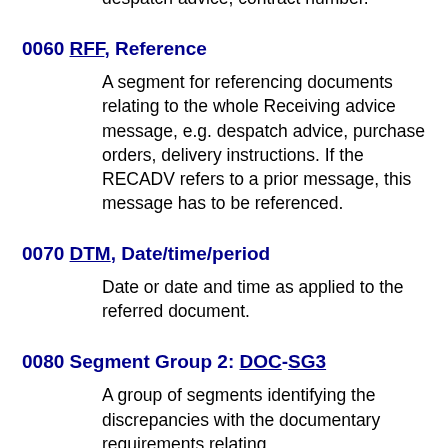relating to the whole message, e.g. despatch advice, contract number.
0060 RFF, Reference
A segment for referencing documents relating to the whole Receiving advice message, e.g. despatch advice, purchase orders, delivery instructions. If the RECADV refers to a prior message, this message has to be referenced.
0070 DTM, Date/time/period
Date or date and time as applied to the referred document.
0080 Segment Group 2: DOC-SG3
A group of segments identifying the discrepancies with the documentary requirements relating